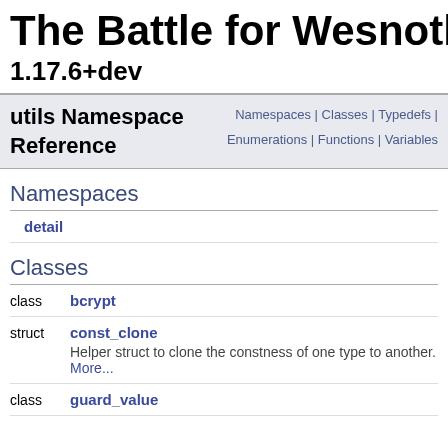The Battle for Wesnoth
1.17.6+dev
utils Namespace Reference
Namespaces | Classes | Typedefs | Enumerations | Functions | Variables
Namespaces
detail
Classes
|  |  |
| --- | --- |
| class | bcrypt |
| struct | const_clone
Helper struct to clone the constness of one type to another. More... |
| class | guard_value |